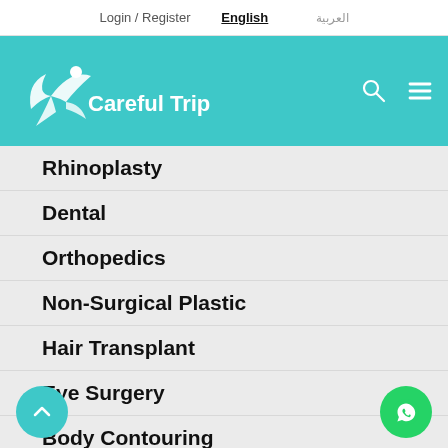Login / Register   English   العربية
[Figure (logo): Careful Trip logo with stylized bird/person figure in white on teal background with search and hamburger menu icons]
Rhinoplasty
Dental
Orthopedics
Non-Surgical Plastic
Hair Transplant
Eye Surgery
Body Contouring
...astic Su...
Health Tourism
Need Help? Chat with us